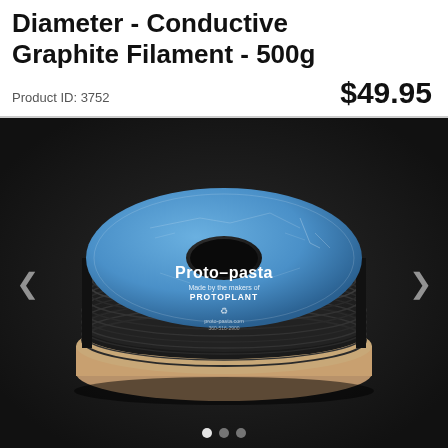Diameter - Conductive Graphite Filament - 500g
Product ID: 3752
$49.95
[Figure (photo): A spool of black conductive graphite 3D printer filament with a blue Proto-pasta / Protoplant branded label on the spool face, sitting on a dark background. Navigation arrows are visible on left and right sides, and three dot indicators are shown at the bottom.]